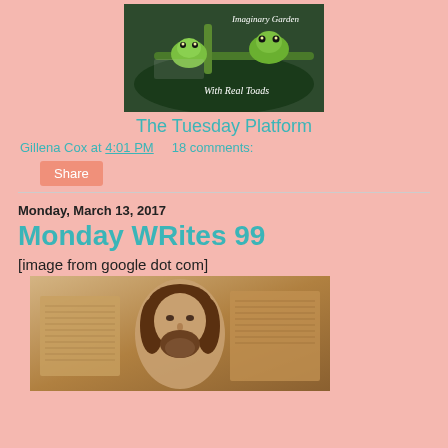[Figure (photo): Imaginary Garden With Real Toads blog header image showing two green tree frogs on a branch with text overlay]
The Tuesday Platform
Gillena Cox at 4:01 PM    18 comments:
Share
Monday, March 13, 2017
Monday WRites 99
[image from google dot com]
[Figure (photo): Sepia-toned image of Jesus face overlaid on an open ancient Bible/book]